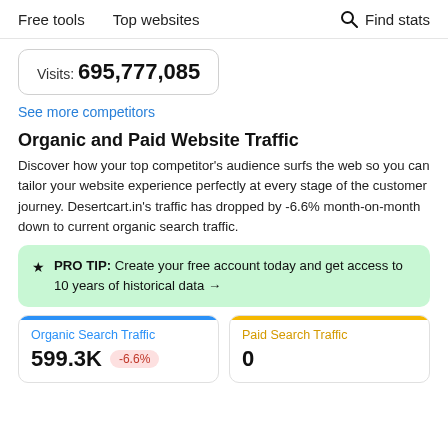Free tools   Top websites   🔍 Find stats
Visits: 695,777,085
See more competitors
Organic and Paid Website Traffic
Discover how your top competitor's audience surfs the web so you can tailor your website experience perfectly at every stage of the customer journey. Desertcart.in's traffic has dropped by -6.6% month-on-month down to current organic search traffic.
★ PRO TIP: Create your free account today and get access to 10 years of historical data →
Organic Search Traffic 599.3K -6.6%
Paid Search Traffic 0